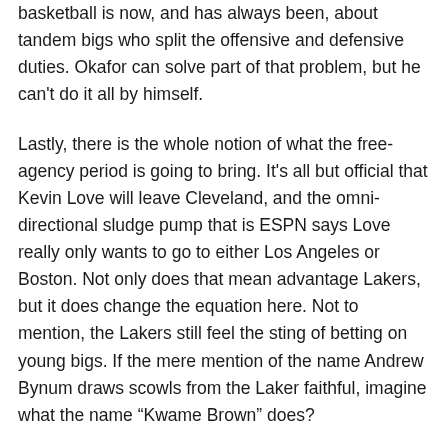basketball is now, and has always been, about tandem bigs who split the offensive and defensive duties. Okafor can solve part of that problem, but he can't do it all by himself.
Lastly, there is the whole notion of what the free-agency period is going to bring. It's all but official that Kevin Love will leave Cleveland, and the omni-directional sludge pump that is ESPN says Love really only wants to go to either Los Angeles or Boston. Not only does that mean advantage Lakers, but it does change the equation here. Not to mention, the Lakers still feel the sting of betting on young bigs. If the mere mention of the name Andrew Bynum draws scowls from the Laker faithful, imagine what the name “Kwame Brown” does?
What is a certainty is the Laker team which limped off the floor this season will look significantly different from the...